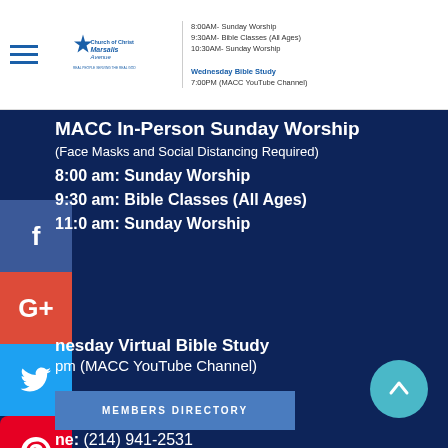Church of Christ Marsalis Avenue | REAL PEOPLE SERVING THE REAL GOD | 8:00AM Sunday Worship | 9:30AM Bible Classes (All Ages) | 10:30AM Sunday Worship | Wednesday Bible Study 7:00PM (MACC YouTube Channel)
MACC In-Person Sunday Worship
(Face Masks and Social Distancing Required)
8:00 am: Sunday Worship
9:30 am: Bible Classes (All Ages)
11:00 am: Sunday Worship
Wednesday Virtual Bible Study
7:00 pm (MACC YouTube Channel)
GENERAL INFORMATION
Phone: (214) 941-2531
Office Hours:
Monday - Friday
9 a.m. - 5 p.m.
MEMBERS DIRECTORY